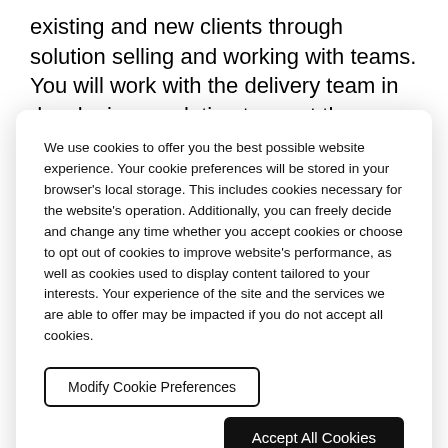existing and new clients through solution selling and working with teams. You will work with the delivery team in developing a solution to meet the
We use cookies to offer you the best possible website experience. Your cookie preferences will be stored in your browser's local storage. This includes cookies necessary for the website's operation. Additionally, you can freely decide and change any time whether you accept cookies or choose to opt out of cookies to improve website's performance, as well as cookies used to display content tailored to your interests. Your experience of the site and the services we are able to offer may be impacted if you do not accept all cookies.
Modify Cookie Preferences
Accept All Cookies
Canadian clients a global capability with a highly